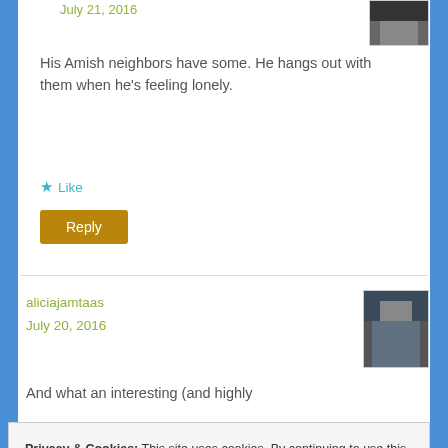July 21, 2016
[Figure (photo): User avatar thumbnail, dark toned photo]
His Amish neighbors have some. He hangs out with them when he's feeling lonely.
★ Like
Reply
aliciajamtaas
July 20, 2016
[Figure (photo): User avatar photo showing person in front of a building]
And what an interesting (and highly
Privacy & Cookies: This site uses cookies. By continuing to use this website, you agree to their use.
To find out more, including how to control cookies, see here: Cookie Policy
Close and accept